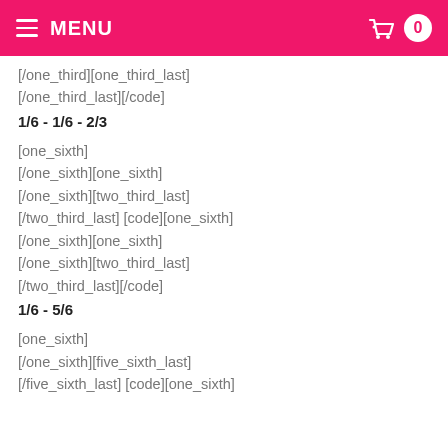MENU
[/one_third][one_third_last]
[/one_third_last][/code]
1/6 - 1/6 - 2/3
[one_sixth]
[/one_sixth][one_sixth]
[/one_sixth][two_third_last]
[/two_third_last] [code][one_sixth]
[/one_sixth][one_sixth]
[/one_sixth][two_third_last]
[/two_third_last][/code]
1/6 - 5/6
[one_sixth]
[/one_sixth][five_sixth_last]
[/five_sixth_last] [code][one_sixth]